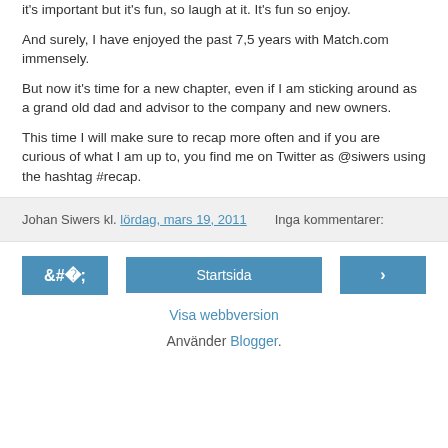it's important but it's fun, so laugh at it. It's fun so enjoy.
And surely, I have enjoyed the past 7,5 years with Match.com immensely.
But now it's time for a new chapter, even if I am sticking around as a grand old dad and advisor to the company and new owners.
This time I will make sure to recap more often and if you are curious of what I am up to, you find me on Twitter as @siwers using the hashtag #recap.
Johan Siwers kl. lördag, mars 19, 2011   Inga kommentarer:
◄  Startsida  ►
Visa webbversion
Använder Blogger.